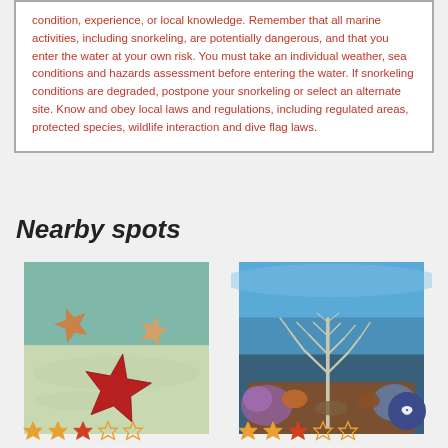condition, experience, or local knowledge. Remember that all marine activities, including snorkeling, are potentially dangerous, and that you enter the water at your own risk. You must take an individual weather, sea conditions and hazards assessment before entering the water. If snorkeling conditions are degraded, postpone your snorkeling or select an alternate site. Know and obey local laws and regulations, including regulated areas, protected species, wildlife interaction and dive flag laws.
Nearby spots
[Figure (photo): Underwater photo showing three starfish (sea stars) on a sandy ocean floor — two orange/tan starfish in the background and one large red starfish in the foreground. Rating: 2.5 out of 5 stars shown at bottom left.]
[Figure (photo): Underwater coral reef photo showing a tall branching sea fan or soft coral (grayish-white) in the center, with colorful coral reef in the background under blue water. Rating: 2 out of 5 stars shown at bottom left.]